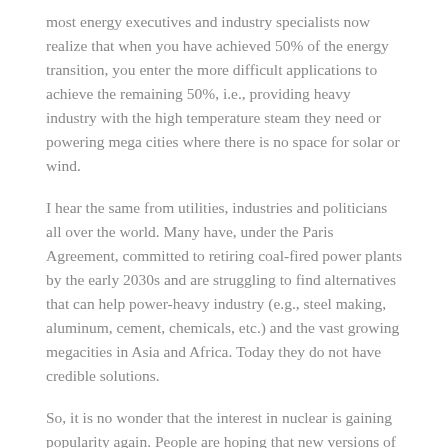most energy executives and industry specialists now realize that when you have achieved 50% of the energy transition, you enter the more difficult applications to achieve the remaining 50%, i.e., providing heavy industry with the high temperature steam they need or powering mega cities where there is no space for solar or wind.
I hear the same from utilities, industries and politicians all over the world. Many have, under the Paris Agreement, committed to retiring coal-fired power plants by the early 2030s and are struggling to find alternatives that can help power-heavy industry (e.g., steel making, aluminum, cement, chemicals, etc.) and the vast growing megacities in Asia and Africa. Today they do not have credible solutions.
So, it is no wonder that the interest in nuclear is gaining popularity again. People are hoping that new versions of traditional atom-splitting fission plants will become safer than before, but public resistance based on the nightmare scenarios at Chernobyl and Fukushima remains very high.